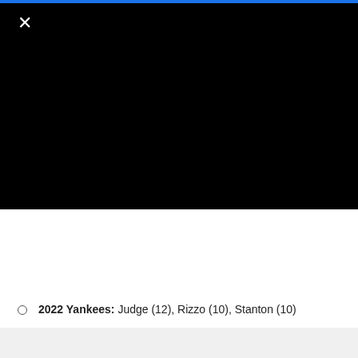[Figure (other): Black video player area with a white X close button in the top-left corner and a thin blue bar at the very top]
2022 Yankees: Judge (12), Rizzo (10), Stanton (10)